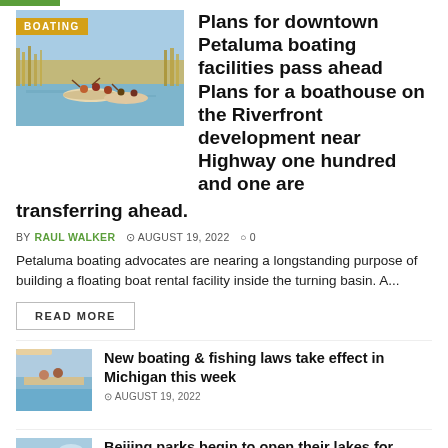[Figure (photo): Kayakers paddling on a calm river with reeds/marsh in background, blue sky]
Plans for downtown Petaluma boating facilities pass ahead Plans for a boathouse on the Riverfront development near Highway one hundred and one are transferring ahead.
BY RAUL WALKER  © AUGUST 19, 2022  ○ 0
Petaluma boating advocates are nearing a longstanding purpose of building a floating boat rental facility inside the turning basin. A...
READ MORE
[Figure (photo): People on a boat, fishing or boating on a lake]
New boating & fishing laws take effect in Michigan this week
© AUGUST 19, 2022
[Figure (photo): Green hillside with water, likely Beijing park lake scene]
Beijing parks begin to open their lakes for boating